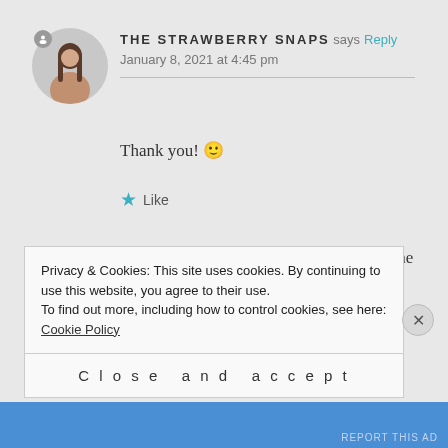[Figure (photo): Circular avatar photo of a woman with long dark hair on a light background]
THE STRAWBERRY SNAPS says Reply
January 8, 2021 at 4:45 pm
Thank you! 🙂
★ Like
Pingback: Living Costs in Barcelona – The Perspectives of a Solo-Traveller – The Strawberry Snaps
Privacy & Cookies: This site uses cookies. By continuing to use this website, you agree to their use.
To find out more, including how to control cookies, see here: Cookie Policy
Close and accept